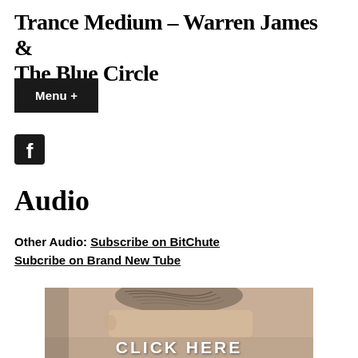Trance Medium – Warren James & The Blue Circle
Menu +
[Figure (logo): Facebook icon (white 'f' on dark square background)]
Audio
Other Audio: Subscribe on BitChute Subcribe on Brand New Tube
[Figure (photo): A sepia-toned image showing top of a person's head with hair, and white bold text reading 'CLICK HERE' overlaid at the bottom]